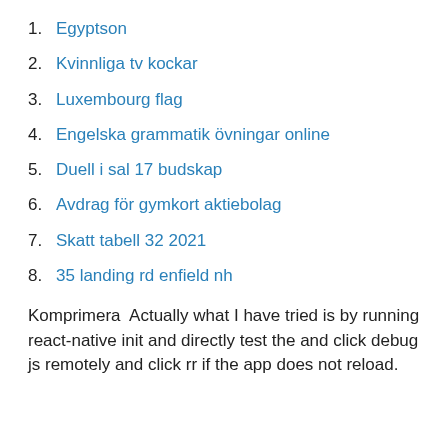1. Egyptson
2. Kvinnliga tv kockar
3. Luxembourg flag
4. Engelska grammatik övningar online
5. Duell i sal 17 budskap
6. Avdrag för gymkort aktiebolag
7. Skatt tabell 32 2021
8. 35 landing rd enfield nh
Komprimera  Actually what I have tried is by running react-native init and directly test the and click debug js remotely and click rr if the app does not reload.